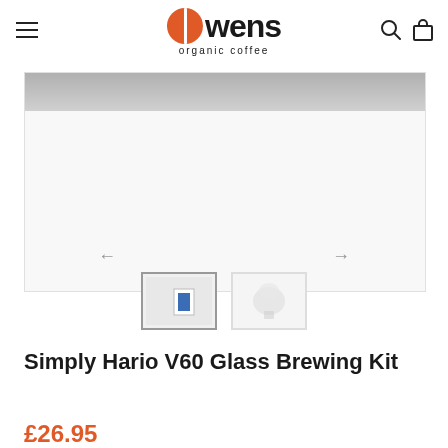[Figure (logo): Owens Organic Coffee logo — large bold stylized text 'owens' with an orange circle as the 'O', tagline 'organic coffee' below]
[Figure (photo): Product image carousel showing Hario V60 Glass Brewing Kit; first thumbnail shows a box with a blue label, second thumbnail shows glass dripper components on white background. Navigation left and right arrows visible.]
Simply Hario V60 Glass Brewing Kit
£26.95